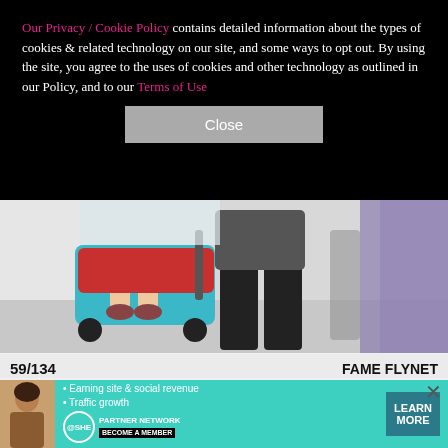Our Privacy / Cookie Policy contains detailed information about the types of cookies & related technology on our site, and some ways to opt out. By using the site, you agree to the uses of cookies and other technology as outlined in our Policy, and to our Terms of Use
Close
[Figure (photo): Close-up photo of a child in a stroller with red and teal colors, alongside adults walking, at what appears to be Disneyland]
59/134
FAME FLYNET
—
David Beckham and wife Victoria Beckham brought the whole family for a day of fun at Disneyland in Anaheim
[Figure (infographic): SHE Media Partner Network advertisement banner with woman photo, bullet points about earning site & social revenue and traffic growth, SHE logo, and Learn More button]